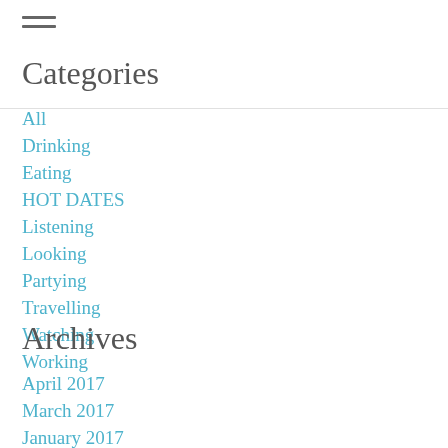Categories
All
Drinking
Eating
HOT DATES
Listening
Looking
Partying
Travelling
Watching
Working
Archives
April 2017
March 2017
January 2017
November 2016